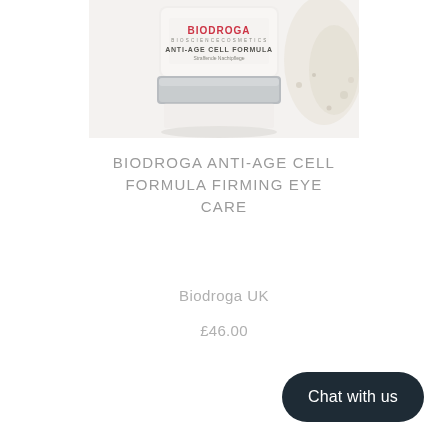[Figure (photo): A cream jar with BIODROGA ANTI-AGE CELL FORMULA Straffende Nachtpflege label, silver base, white lid, partially visible, alongside a blurred second product on the right edge. White background with soft shadows.]
BIODROGA ANTI-AGE CELL FORMULA FIRMING EYE CARE
Biodroga UK
£46.00
Chat with us